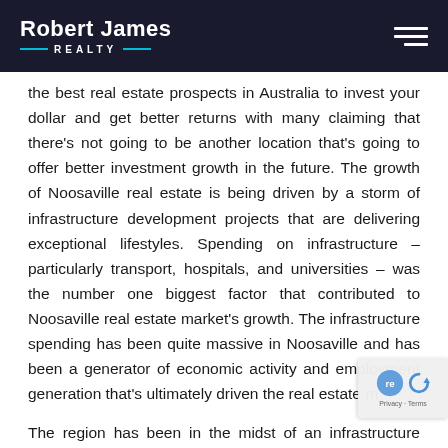Robert James Realty
the best real estate prospects in Australia to invest your dollar and get better returns with many claiming that there's not going to be another location that's going to offer better investment growth in the future. The growth of Noosaville real estate is being driven by a storm of infrastructure development projects that are delivering exceptional lifestyles. Spending on infrastructure – particularly transport, hospitals, and universities – was the number one biggest factor that contributed to Noosaville real estate market's growth. The infrastructure spending has been quite massive in Noosaville and has been a generator of economic activity and employment generation that's ultimately driven the real estate m
The region has been in the midst of an infrastructure boom with billions of dollars being invested in creating